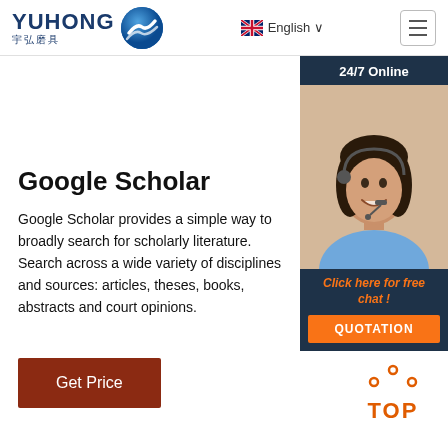[Figure (logo): YUHONG 宇弘磨具 logo with blue wave/globe icon]
[Figure (screenshot): Language selector showing UK flag, English text with dropdown arrow]
[Figure (screenshot): Hamburger menu icon (three horizontal lines in a bordered box)]
[Figure (photo): 24/7 Online chat widget showing a female customer service representative wearing a headset, with dark navy background, 'Click here for free chat!' in orange text, and an orange QUOTATION button]
Google Scholar
Google Scholar provides a simple way to broadly search for scholarly literature. Search across a wide variety of disciplines and sources: articles, theses, books, abstracts and court opinions.
[Figure (screenshot): Get Price button in dark red/brown color]
[Figure (illustration): TOP back-to-top button with orange dots arranged in arch and orange TOP text]